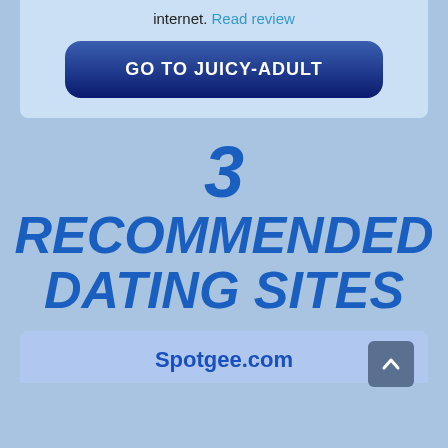internet. Read review
GO TO JUICY-ADULT
3 RECOMMENDED DATING SITES
Spotgee.com